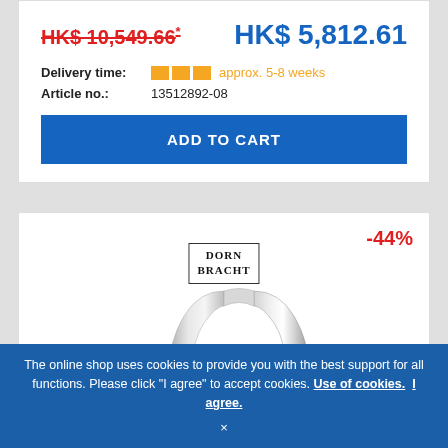HK$ 10,549.66*
HK$ 5,812.61
Delivery time: approx. 5-8 weeks
Article no.: 13512892-08
ADD TO CART
[Figure (logo): Dornbracht logo in bordered box]
-44%
[Figure (photo): Chrome faucet with a tall curved spout, partially visible]
The online shop uses cookies to provide you with the best support for all functions. Please click "I agree" to accept cookies. Use of cookies. I agree. ×